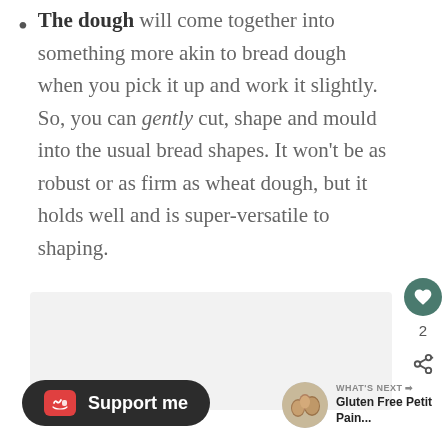The dough will come together into something more akin to bread dough when you pick it up and work it slightly. So, you can gently cut, shape and mould into the usual bread shapes. It won't be as robust or as firm as wheat dough, but it holds well and is super-versatile to shaping.
[Figure (photo): A light grey placeholder image area showing a photograph (partially visible) of bread or dough.]
[Figure (infographic): Social interaction panel with a teal heart/like button showing count of 2, and a share button below it.]
[Figure (infographic): Ko-fi Support me button in dark rounded pill shape with red Ko-fi cup icon.]
[Figure (infographic): What's Next panel with circular thumbnail of bread rolls and text: Gluten Free Petit Pain...]